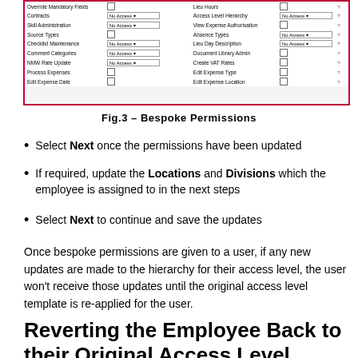[Figure (screenshot): Screenshot of a bespoke permissions table UI with rows for various admin fields (Override Mandatory Fields, Contracts, Skill Administration, Source Types, Checklist Maintenance, Comment Categories, NMW Rate Update, Process Expenses, Edit Expense Date) and columns showing dropdown selectors set to 'No Access', checkboxes, and question mark icons. A red border surrounds the screenshot.]
Fig.3 – Bespoke Permissions
Select Next once the permissions have been updated
If required, update the Locations and Divisions which the employee is assigned to in the next steps
Select Next to continue and save the updates
Once bespoke permissions are given to a user, if any new updates are made to the hierarchy for their access level, the user won't receive those updates until the original access level template is re-applied for the user.
Reverting the Employee Back to their Original Access Level